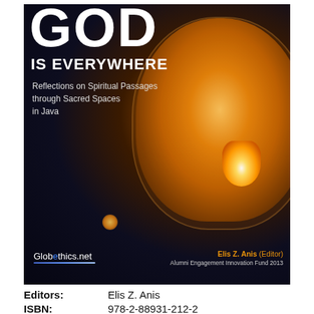[Figure (photo): Book cover: 'God Is Everywhere – Reflections on Spiritual Passages through Sacred Spaces in Java'. Dark night sky background with a large glowing paper lantern dominating the right side, a smaller distant lantern visible in the lower left. Text overlaid on dark left portion: 'GOD / IS EVERYWHERE / Reflections on Spiritual Passages / through Sacred Spaces / in Java'. Bottom left shows Globethics.net logo; bottom right shows 'Elis Z. Anis (Editor) / Alumni Engagement Innovation Fund 2013'.]
Editors:    Elis Z. Anis
ISBN:    978-2-88931-212-2